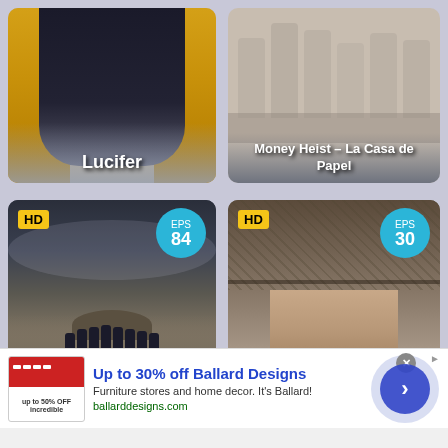[Figure (photo): Lucifer TV show poster with figure in front of stained glass window, yellow/gold background]
Lucifer
[Figure (photo): Money Heist - La Casa de Papel show poster with illustrated characters in a row]
Money Heist – La Casa de Papel
[Figure (photo): Dark TV show poster with group of people standing in misty landscape, HD badge, EPS 84]
[Figure (photo): Peaky Blinders show poster with man wearing flat cap, HD badge, EPS 30]
Up to 30% off Ballard Designs
Furniture stores and home decor. It's Ballard!
ballarddesigns.com